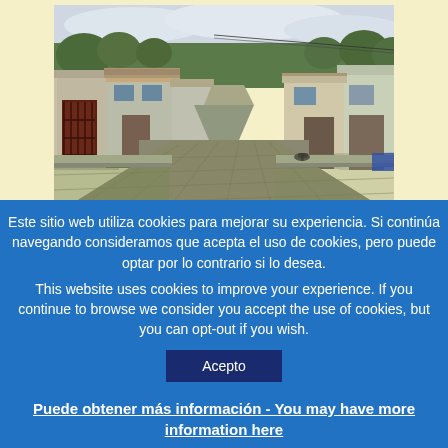[Figure (photo): Street scene showing a paved cobblestone road in what appears to be a Latin American town, with single-story buildings on either side, trees in the background, and an overcast sky.]
Este sitio web utiliza cookies para mejorar su experiencia. Si continúa navegando consideramos que acepta el uso de cookies, pero puede optar por lo contrario si lo desea.
This website uses cookies to improve your experience. If you continue to browse we consider you accept the use of cookies, but you can opt-out if you wish.
Acepto
Puede obtener más información - You may have more information here